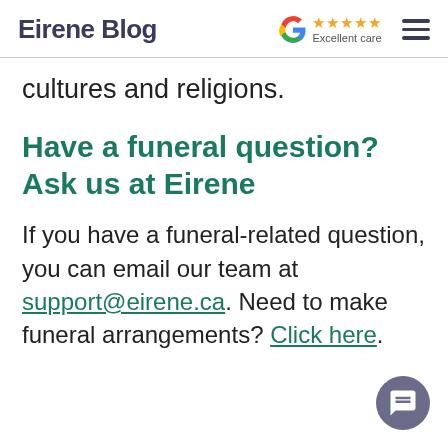Eirene Blog
cultures and religions.
Have a funeral question? Ask us at Eirene
If you have a funeral-related question, you can email our team at support@eirene.ca. Need to make funeral arrangements? Click here.